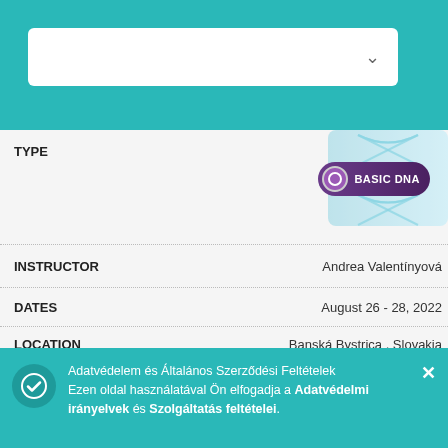[Figure (screenshot): Teal top bar with white dropdown selector box with chevron arrow]
| TYPE | BASIC DNA (badge) |
| INSTRUCTOR | Andrea Valentínyová |
| DATES | August 26 - 28, 2022 |
| LOCATION | Banská Bystrica , Slovakia
Slovakia
IN-PERSON SEMINAR |
|  | Tudj meg többet |
| TYPE | BASIC DNA (badge) |
| INSTRUCTOR | (truncated) ade |
| DATES | August 26 - 28, 2022 |
Adatvédelem és Általános Szerződési Feltételek Ezen oldal használatával Ön elfogadja a Adatvédelmi irányelvek és Szolgáltatás feltételei.